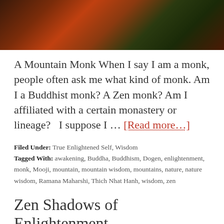[Figure (photo): Dark reddish-brown foliage or plant material photo strip at top of page]
A Mountain Monk When I say I am a monk, people often ask me what kind of monk. Am I a Buddhist monk? A Zen monk? Am I affiliated with a certain monastery or lineage?   I suppose I … [Read more…]
Filed Under: True Enlightened Self, Wisdom
Tagged With: awakening, Buddha, Buddhism, Dogen, enlightenment, monk, Mooji, mountain, mountain wisdom, mountains, nature, nature wisdom, Ramana Maharshi, Thich Nhat Hanh, wisdom, zen
Zen Shadows of Enlightenment…